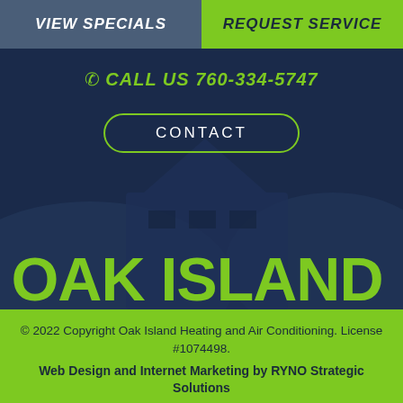VIEW SPECIALS
REQUEST SERVICE
CALL US 760-334-5747
CONTACT
[Figure (logo): Oak Island company logo text in large green cursive font on dark navy background with silhouette shapes]
© 2022 Copyright Oak Island Heating and Air Conditioning. License #1074498. Web Design and Internet Marketing by RYNO Strategic Solutions